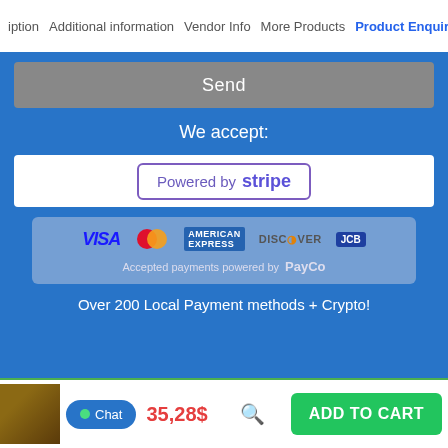iption   Additional information   Vendor Info   More Products   Product Enquiry
Send
We accept:
[Figure (logo): Powered by stripe badge with purple border and text]
[Figure (infographic): Payment card logos: VISA, Mastercard, American Express, Discover, JCB. Below: Accepted payments powered by PayCo]
Over 200 Local Payment methods + Crypto!
35,28$   Chat   ADD TO CART